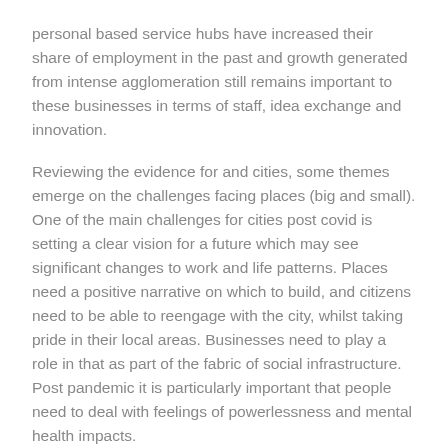personal based service hubs have increased their share of employment in the past and growth generated from intense agglomeration still remains important to these businesses in terms of staff, idea exchange and innovation.
Reviewing the evidence for and cities, some themes emerge on the challenges facing places (big and small). One of the main challenges for cities post covid is setting a clear vision for a future which may see significant changes to work and life patterns. Places need a positive narrative on which to build, and citizens need to be able to reengage with the city, whilst taking pride in their local areas. Businesses need to play a role in that as part of the fabric of social infrastructure. Post pandemic it is particularly important that people need to deal with feelings of powerlessness and mental health impacts.